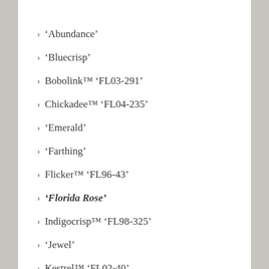'Abundance'
'Bluecrisp'
Bobolink™ 'FL03-291'
Chickadee™ 'FL04-235'
'Emerald'
'Farthing'
Flicker™ 'FL96-43'
'Florida Rose'
Indigocrisp™ 'FL98-325'
'Jewel'
Kestrel™ 'FL02-40'
Meadowlark™ 'FL01-173'